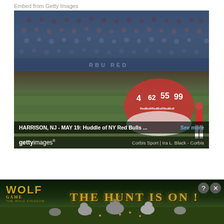Embed from Getty Images
[Figure (photo): Soccer players in NY Red Bulls uniforms huddled together on field, fans in stadium stands visible in background. Numbers 55, 99 visible on jerseys. Getty Images embed showing 'HARRISON, NJ - MAY 19: Huddle of NY Red Bulls ...' caption bar with 'See more' link. Getty Images logo and 'Corbis Sport | Ira L. Black - Corbis' credit shown.]
[Figure (photo): Wolf Game advertisement banner: dark forest background with wolves in meadow. Text reads 'WOLF GAME THE WOLF KINGDOM' on the left and 'THE HUNT IS ON!' in golden letters on the right. Close and help buttons in top right corner.]